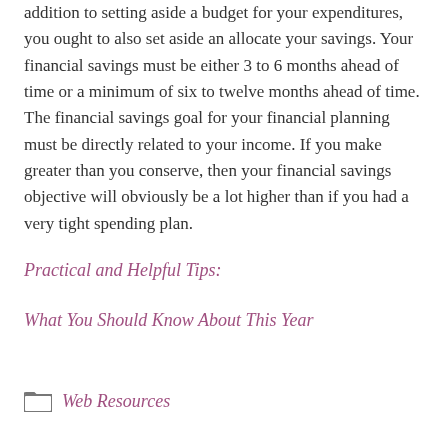addition to setting aside a budget for your expenditures, you ought to also set aside an allocate your savings. Your financial savings must be either 3 to 6 months ahead of time or a minimum of six to twelve months ahead of time. The financial savings goal for your financial planning must be directly related to your income. If you make greater than you conserve, then your financial savings objective will obviously be a lot higher than if you had a very tight spending plan.
Practical and Helpful Tips:
What You Should Know About This Year
Web Resources